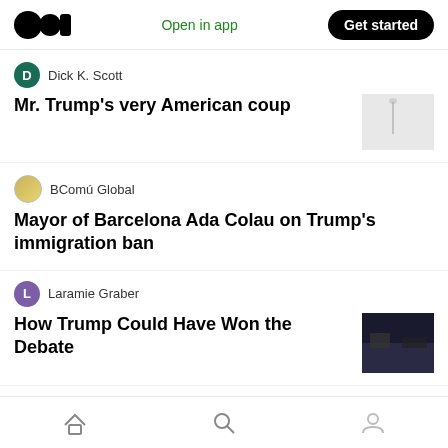Medium app header with logo, Open in app, Get started
Dick K. Scott
Mr. Trump's very American coup
BComú Global
Mayor of Barcelona Ada Colau on Trump's immigration ban
Laramie Graber
How Trump Could Have Won the Debate
Anthony Echiavarri in Atomic Brunch
Tulsi Gabbard Outs Pro-War Media Bias Without Even Trying
Home, Search, Profile navigation icons